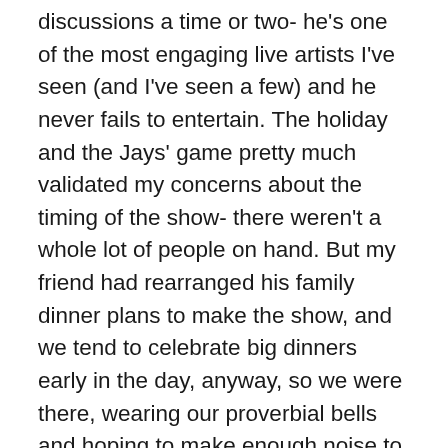discussions a time or two- he's one of the most engaging live artists I've seen (and I've seen a few) and he never fails to entertain. The holiday and the Jays' game pretty much validated my concerns about the timing of the show- there weren't a whole lot of people on hand. But my friend had rearranged his family dinner plans to make the show, and we tend to celebrate big dinners early in the day, anyway, so we were there, wearing our proverbial bells and hoping to make enough noise to make up for the poor turn-out.
We got there in time to see most of the opening act- Matthew Ryan, a dude out of Philly who writes and plays solid story-songs that offered important messages that were lovely, lyrically and musically, both. Between songs, he spoke of the importance of engagement- political or